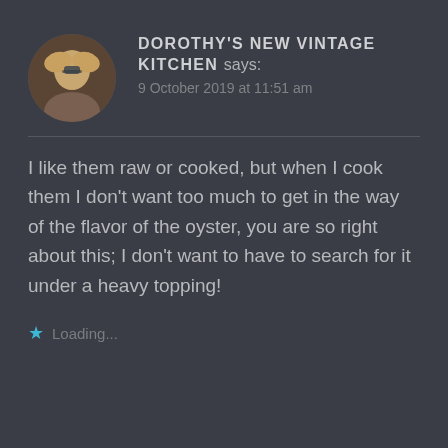DOROTHY'S NEW VINTAGE KITCHEN says:
9 October 2019 at 11:51 am
I like them raw or cooked, but when I cook them I don't want too much to get in the way of the flavor of the oyster, you are so right about this; I don't want to have to search for it under a heavy topping!
Loading...